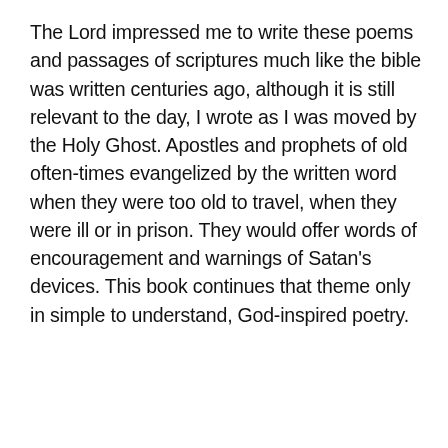The Lord impressed me to write these poems and passages of scriptures much like the bible was written centuries ago, although it is still relevant to the day, I wrote as I was moved by the Holy Ghost. Apostles and prophets of old often-times evangelized by the written word when they were too old to travel, when they were ill or in prison. They would offer words of encouragement and warnings of Satan's devices. This book continues that theme only in simple to understand, God-inspired poetry.